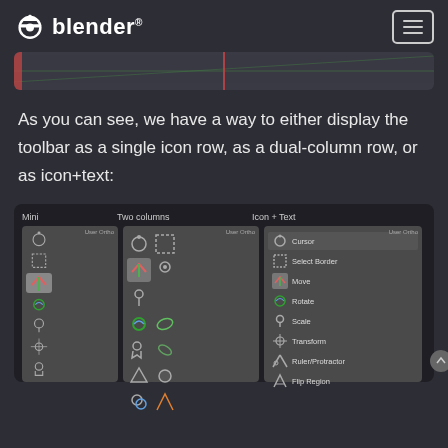blender
[Figure (screenshot): Blender 3D viewport strip showing grid lines]
As you can see, we have a way to either display the toolbar as a single icon row, as a dual-column row, or as icon+text:
[Figure (screenshot): Three toolbar display modes side by side: Mini (single icon row), Two columns (dual-column row), and Icon + Text (icons with labels for Cursor, Select Border, Move, Rotate, Scale, Transform, Ruler/Protractor, Flip Region)]